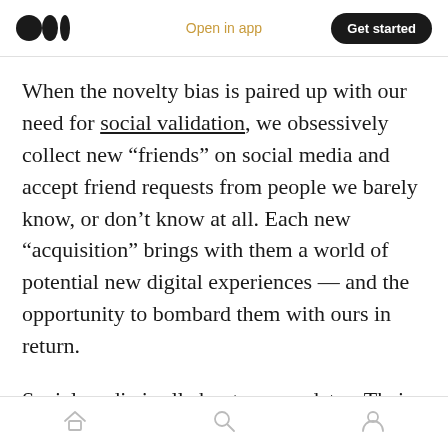Medium logo | Open in app | Get started
When the novelty bias is paired up with our need for social validation, we obsessively collect new “friends” on social media and accept friend requests from people we barely know, or don’t know at all. Each new “acquisition” brings with them a world of potential new digital experiences — and the opportunity to bombard them with ours in return.
Social media is all about new updates. Their interruption is irresistible because it is a perfect storm of random rewards — a super-weapon
Home | Search | Profile